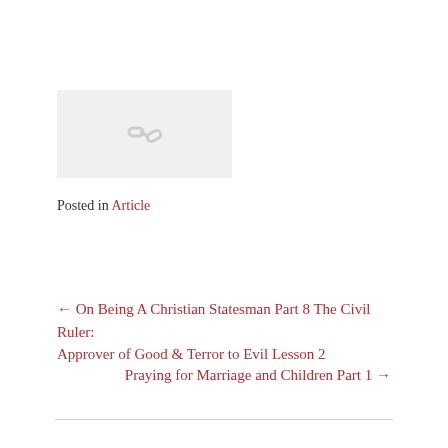[Figure (other): Placeholder image with a chain/link icon on a light gray background]
Posted in Article
← On Being A Christian Statesman Part 8 The Civil Ruler: Approver of Good & Terror to Evil Lesson 2
Praying for Marriage and Children Part 1 →